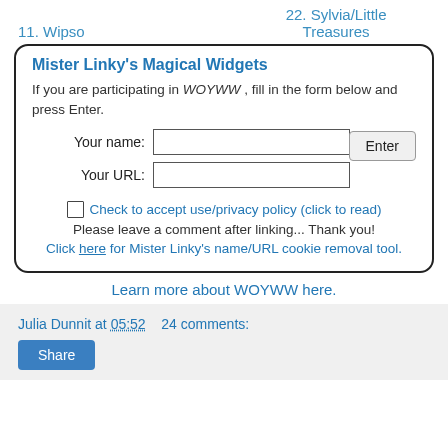11. Wipso
22. Sylvia/Little Treasures
Mister Linky's Magical Widgets
If you are participating in WOYWW , fill in the form below and press Enter.
Your name: [input] Enter
Your URL: [input]
□ Check to accept use/privacy policy (click to read)
Please leave a comment after linking... Thank you!
Click here for Mister Linky's name/URL cookie removal tool.
Learn more about WOYWW here.
Julia Dunnit at 05:52    24 comments:
Share